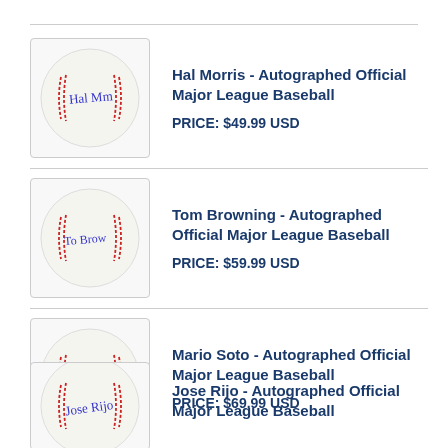[Figure (photo): Autographed baseball with signature, shown in a bordered box]
Hal Morris - Autographed Official Major League Baseball
PRICE: $49.99 USD
[Figure (photo): Autographed baseball with Tom Browning signature, shown in a bordered box]
Tom Browning - Autographed Official Major League Baseball
PRICE: $59.99 USD
[Figure (photo): Autographed baseball with Mario Soto signature, shown in a bordered box]
Mario Soto - Autographed Official Major League Baseball
PRICE: $69.99 USD
[Figure (photo): Autographed baseball with Jose Rijo signature, shown in a bordered box]
Jose Rijo - Autographed Official Major League Baseball